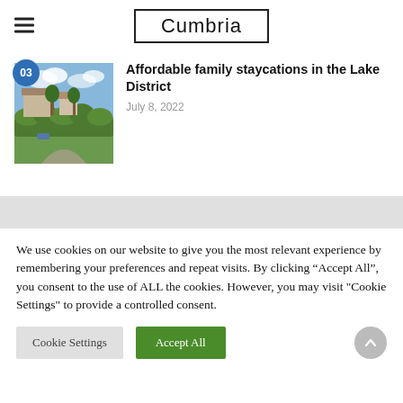Cumbria
Affordable family staycations in the Lake District
July 8, 2022
[Figure (photo): Outdoor scene with stone buildings and green hedges/trees under a partly cloudy blue sky]
We use cookies on our website to give you the most relevant experience by remembering your preferences and repeat visits. By clicking “Accept All”, you consent to the use of ALL the cookies. However, you may visit "Cookie Settings" to provide a controlled consent.
Cookie Settings | Accept All